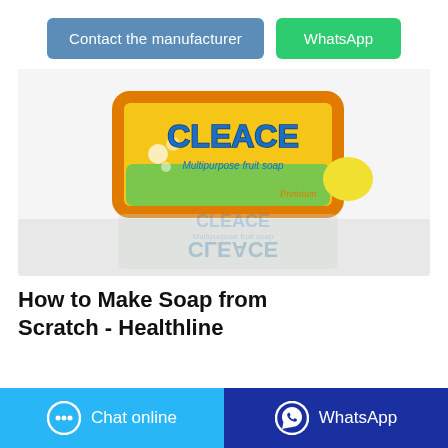Contact the manufacturer
WhatsApp
[Figure (photo): A bar of CLEACE Multipurpose Fruit Soap with yellow-green packaging on a reflective surface, with reflection below]
How to Make Soap from Scratch - Healthline
Chat online
WhatsApp